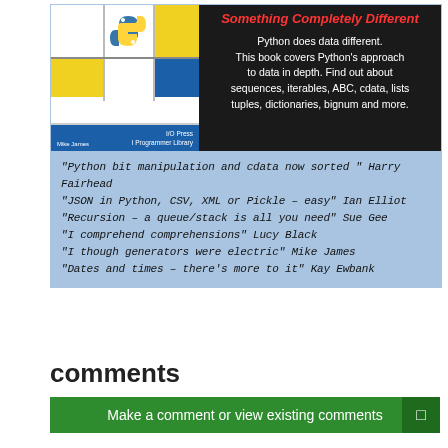[Figure (illustration): Book cover for a Python data programming book with Mondrian-style grid pattern, Python logo, and I/O Press / I Programmer Library branding by Mike James]
Something Completely Different
Python does data different. This book covers Python's approach to data in depth. Find out about sequences, iterables, ABC, cdata, lists tuples, dictionaries, bignum and more.
"Python bit manipulation and cdata now sorted " Harry Fairhead
"JSON in Python, CSV, XML or Pickle – easy" Ian Elliot
"Recursion – a queue/stack is all you need" Sue Gee
"I comprehend comprehensions"  Lucy Black
"I though generators were electric" Mike James
"Dates and times – there's more to it" Kay Ewbank
comments
Make a comment or view existing comments